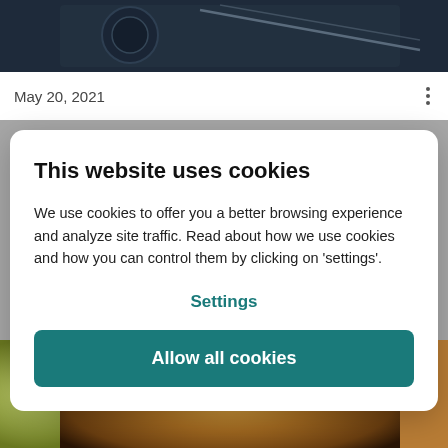[Figure (photo): Top portion of a dark-toned photo, likely showing mechanical/camera equipment against a dark background]
May 20, 2021
This website uses cookies
We use cookies to offer you a better browsing experience and analyze site traffic. Read about how we use cookies and how you can control them by clicking on 'settings'.
Settings
Allow all cookies
[Figure (photo): Bottom portion of a photo showing what appears to be a close-up of an animal eye or similar subject with warm brown tones and a blue light reflection]